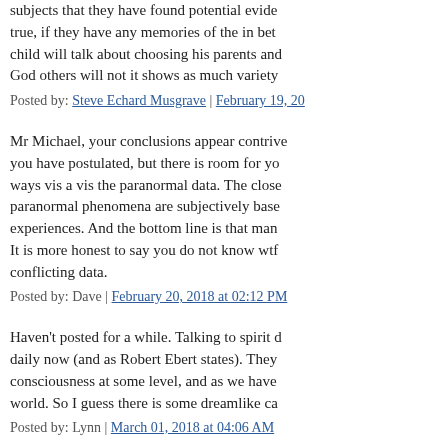subjects that they have found potential evide... true, if they have any memories of the in bet... child will talk about choosing his parents an... God others will not it shows as much variety...
Posted by: Steve Echard Musgrave | February 19, 20...
Mr Michael, your conclusions appear contriv... you have postulated, but there is room for yo... ways vis a vis the paranormal data. The clos... paranormal phenomena are subjectively base... experiences. And the bottom line is that man... It is more honest to say you do not know wtf... conflicting data.
Posted by: Dave | February 20, 2018 at 02:12 PM
Haven't posted for a while. Talking to spirit d... daily now (and as Robert Ebert states). They... consciousness at some level, and as we have... world. So I guess there is some dreamlike ca...
Posted by: Lynn | March 01, 2018 at 04:06 AM